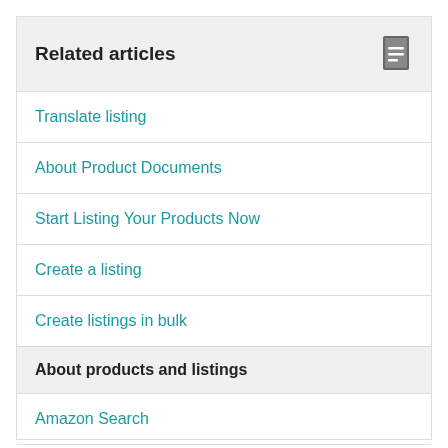Related articles
Translate listing
About Product Documents
Start Listing Your Products Now
Create a listing
Create listings in bulk
About products and listings
Amazon Search
Browse Node Mapping Table for European Stores
Product page style guide